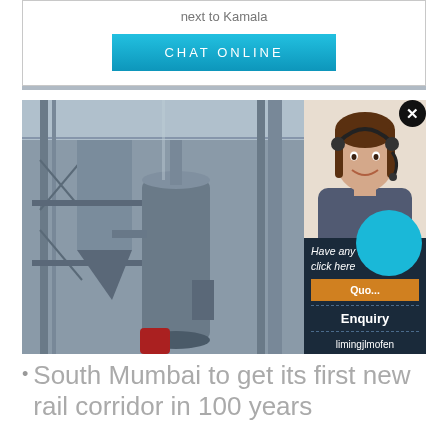next to Kamala
CHAT ONLINE
[Figure (screenshot): Industrial facility/factory interior with metal scaffolding, silos, and large equipment]
[Figure (photo): Customer service agent woman with headset smiling]
Have any requests, click here
Quo...
Enquiry
limingjlmofen@sina.com
South Mumbai to get its first new rail corridor in 100 years